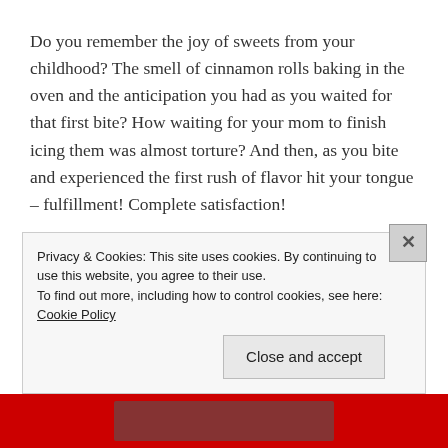Do you remember the joy of sweets from your childhood? The smell of cinnamon rolls baking in the oven and the anticipation you had as you waited for that first bite? How waiting for your mom to finish icing them was almost torture? And then, as you bite and experienced the first rush of flavor hit your tongue – fulfillment! Complete satisfaction!
Now, as an adult, I don't experience cinnamon rolls with quite that amount of passion. No, this is emotion that is saved for greater things, one of which is my kids. I'll
Privacy & Cookies: This site uses cookies. By continuing to use this website, you agree to their use.
To find out more, including how to control cookies, see here: Cookie Policy
Close and accept